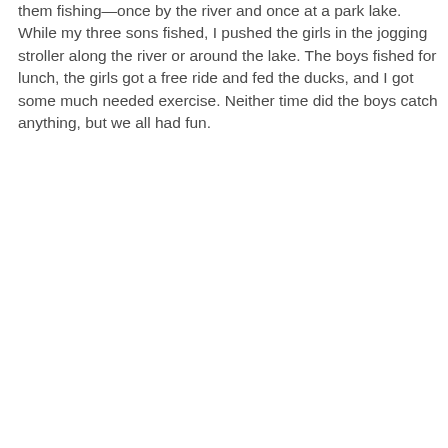them fishing—once by the river and once at a park lake. While my three sons fished, I pushed the girls in the jogging stroller along the river or around the lake. The boys fished for lunch, the girls got a free ride and fed the ducks, and I got some much needed exercise. Neither time did the boys catch anything, but we all had fun.